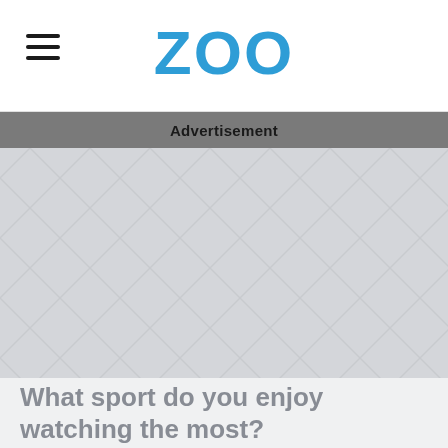ZOO
Advertisement
[Figure (other): Advertisement placeholder area with light grey herringbone/chevron pattern background.]
What sport do you enjoy watching the most?